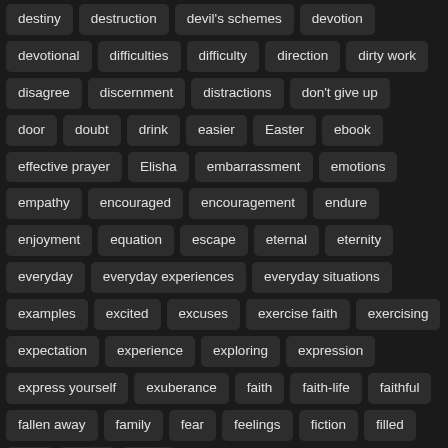destiny
destruction
devil's schemes
devotion
devotional
difficulties
difficulty
direction
dirty work
disagree
discernment
distractions
don't give up
door
doubt
drink
easier
Easter
ebook
effective prayer
Elisha
embarrassment
emotions
empathy
encouraged
encouragement
endure
enjoyment
equation
escape
eternal
eternity
everyday
everyday experiences
everyday situations
examples
excited
excuses
exercise faith
exercising
expectation
experience
exploring
expression
express yourself
exuberance
faith
faith-life
faithful
fallen away
family
fear
feelings
fiction
filled
firm
flavor
flaws